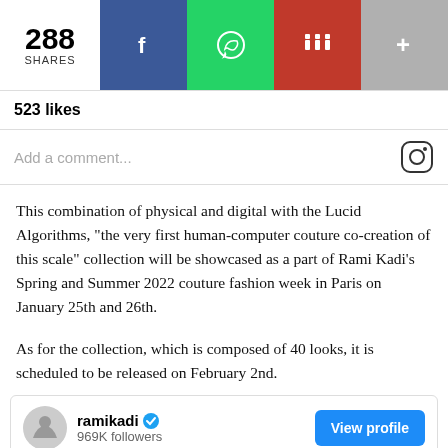[Figure (screenshot): Social share bar showing 288 shares with Facebook, WhatsApp, Reddit, and more buttons]
523 likes
Add a comment...
This combination of physical and digital with the Lucid Algorithms, “the very first human-computer couture co-creation of this scale” collection will be showcased as a part of Rami Kadi’s Spring and Summer 2022 couture fashion week in Paris on January 25th and 26th.
As for the collection, which is composed of 40 looks, it is scheduled to be released on February 2nd.
[Figure (screenshot): Instagram profile card for ramikadi with verified badge, 969K followers, and View profile button]